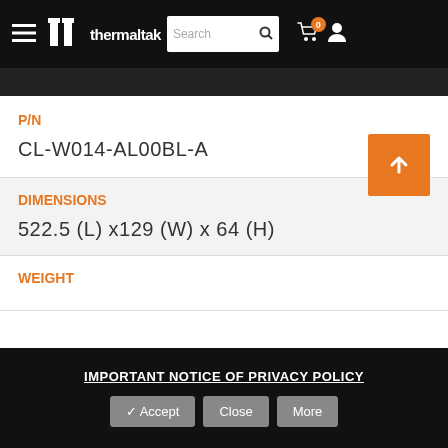Thermaltake navigation bar with hamburger menu, logo, search, cart (0), user icon
P/N
CL-W014-AL00BL-A
DIMENSIONS
522.5 (L) x129 (W) x 64 (H)
WEIGHT
IMPORTANT NOTICE OF PRIVACY POLICY — Accept / Close / More